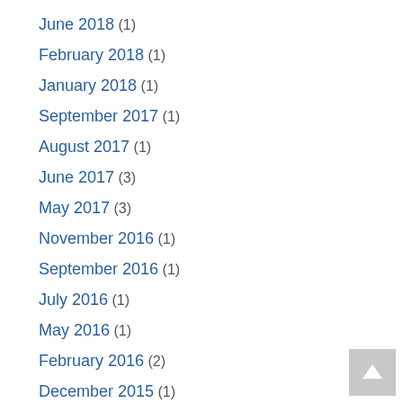June 2018 (1)
February 2018 (1)
January 2018 (1)
September 2017 (1)
August 2017 (1)
June 2017 (3)
May 2017 (3)
November 2016 (1)
September 2016 (1)
July 2016 (1)
May 2016 (1)
February 2016 (2)
December 2015 (1)
October 2015 (1)
September 2015 (1)